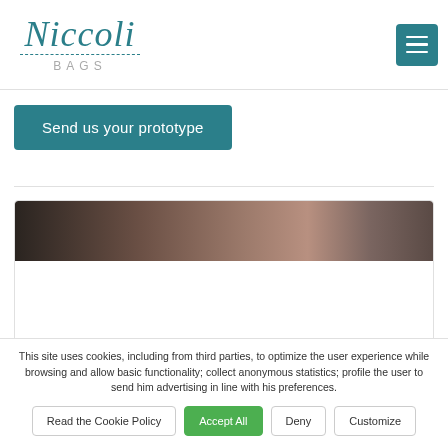[Figure (logo): Niccoli Bags logo — cursive script 'Niccoli' in teal with dashed underline and 'Bags' in spaced gray capitals below]
[Figure (other): Hamburger menu button — teal square with three white horizontal lines]
Send us your prototype
[Figure (photo): Partial photo of a bag or leather product, dark brown tones, cropped to a banner strip]
This site uses cookies, including from third parties, to optimize the user experience while browsing and allow basic functionality; collect anonymous statistics; profile the user to send him advertising in line with his preferences.
Read the Cookie Policy
Accept All
Deny
Customize